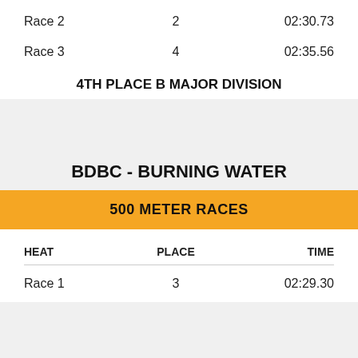| HEAT | PLACE | TIME |
| --- | --- | --- |
| Race 2 | 2 | 02:30.73 |
| Race 3 | 4 | 02:35.56 |
4TH PLACE B MAJOR DIVISION
BDBC - BURNING WATER
500 METER RACES
| HEAT | PLACE | TIME |
| --- | --- | --- |
| Race 1 | 3 | 02:29.30 |